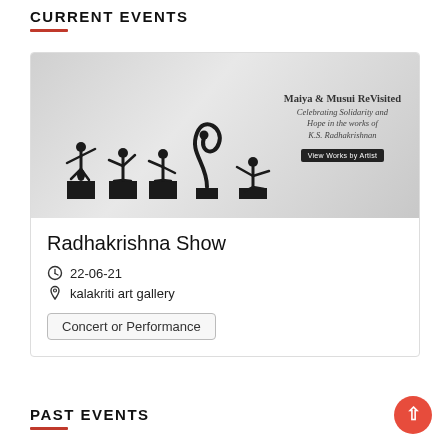CURRENT EVENTS
[Figure (photo): Artwork event banner showing black metal sculptures of dancing figures on pedestals with text overlay: 'Maiya & Musui ReVisited – Celebrating Solidarity and Hope in the works of K.S. Radhakrishnan' and a 'View Works by Artist' button]
Radhakrishna Show
22-06-21
kalakriti art gallery
Concert or Performance
PAST EVENTS